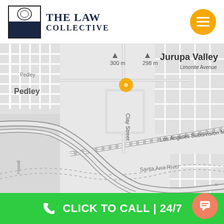[Figure (logo): The Law Collective logo with navy blue and white square icon]
[Figure (map): Street map showing Jurupa Valley area near Pedley and Clay Street, with Santa Ana River and Los Angeles Subdivision MT1, with a yellow location pin marker. Distance markers show 300 m and 298 m.]
CLICK TO CALL | 24/7